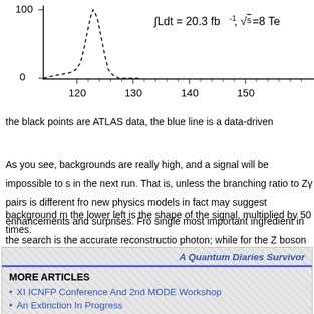[Figure (continuous-plot): Partial histogram plot showing dashed-line histogram of events vs mass (GeV). X-axis shows values from 120 to 150+, Y-axis from 0 to 100. Annotation shows integral Ldt = 20.3 fb^-1, sqrt(s)=8 Te[V].]
the black points are ATLAS data, the blue line is a data-driven background model, and the dashed curve in the lower left is the shape of the signal, multiplied by 50 times.
As you see, backgrounds are really high, and a signal will be impossible to see with the statistics collected in the next run. That is, unless the branching ratio to Zy pairs is different from the Standard Model prediction: new physics models in fact may suggest enhancements and surprises. From the experimental point of view, the single most important ingredient in the search is the accurate reconstruction and energy measurement of the photon; while for the Z boson there is not a large margin of improvement, the precise measurement of the energy of the latter is crucial.
A Quantum Diaries Survivor
MORE ARTICLES
XI ICNFP Conference And 2nd MODE Workshop
An Extinction In Progress